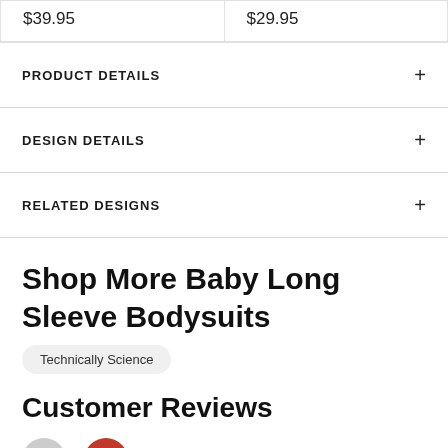$39.95
$29.95
PRODUCT DETAILS
DESIGN DETAILS
RELATED DESIGNS
Shop More Baby Long Sleeve Bodysuits
Technically Science
Customer Reviews